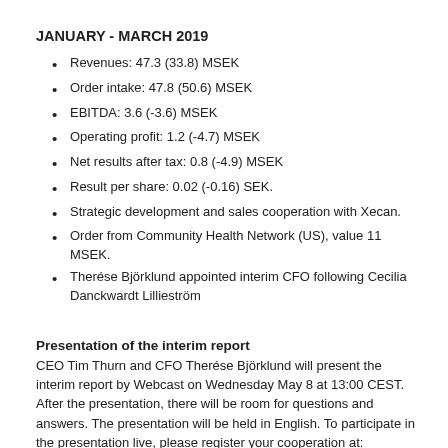JANUARY - MARCH 2019
Revenues: 47.3 (33.8) MSEK
Order intake: 47.8 (50.6) MSEK
EBITDA: 3.6 (-3.6) MSEK
Operating profit: 1.2 (-4.7) MSEK
Net results after tax: 0.8 (-4.9) MSEK
Result per share: 0.02 (-0.16) SEK.
Strategic development and sales cooperation with Xecan.
Order from Community Health Network (US), value 11 MSEK.
Therése Björklund appointed interim CFO following Cecilia Danckwardt Lillieström
Presentation of the interim report
CEO Tim Thurn and CFO Therése Björklund will present the interim report by Webcast on Wednesday May 8 at 13:00 CEST. After the presentation, there will be room for questions and answers. The presentation will be held in English. To participate in the presentation live, please register your cooperation at: https://attendee.gotowebinar.com/register/818110358194410451.